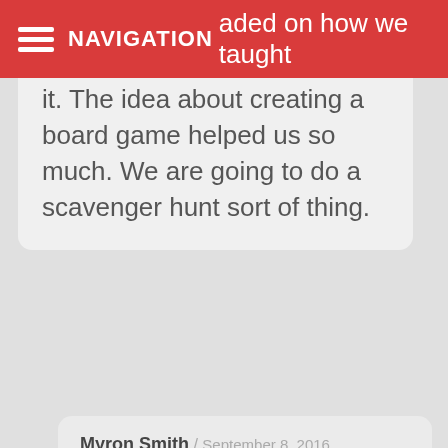NAVIGATION
...graded on how we taught it. The idea about creating a board game helped us so much. We are going to do a scavenger hunt sort of thing.
Myron Smith / September 8, 2016
That's a really good project
Esther / June 3, 2016
These are very great ideas. Thanks for sharing them. You